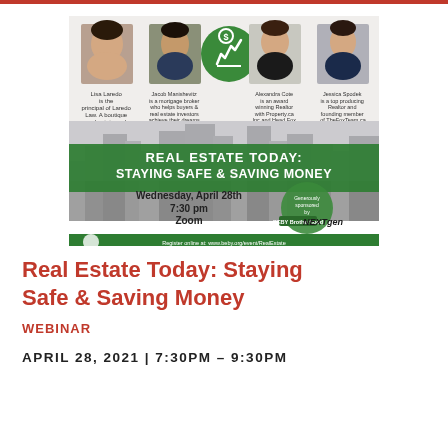[Figure (infographic): Event flyer for 'Real Estate Today: Staying Safe & Saving Money' webinar on Wednesday April 28th, 7:30pm via Zoom. Features headshots of four speakers: Lisa Laredo, Jacob Manishevitz, Alexandra Cote, Jessica Spodek, plus a green money/growth icon. City skyline background. Sponsored by BEBY Brotherhood and NEXTgen. Register at www.beby.org/event/RealEstate]
Real Estate Today: Staying Safe & Saving Money
WEBINAR
APRIL 28, 2021 | 7:30PM – 9:30PM